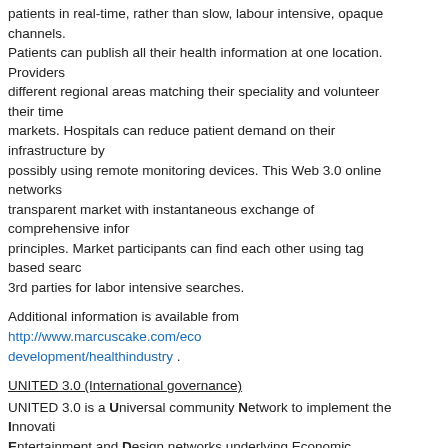patients in real-time, rather than slow, labour intensive, opaque channels. Patients can publish all their health information at one location. Providers different regional areas matching their speciality and volunteer their time markets. Hospitals can reduce patient demand on their infrastructure by possibly using remote monitoring devices. This Web 3.0 online networks transparent market with instantaneous exchange of comprehensive infor principles. Market participants can find each other using tag based searc 3rd parties for labor intensive searches.
Additional information is available from http://www.marcuscake.com/eco development/healthindustry .
UNITED 3.0 (International governance)
UNITED 3.0 is a Universal community Network to implement the Innovati Entertainment and Design networks underlying Economic Development 4
Linux is one of the largest, most complex engineering projects in the wor aggregating the volunteer efforts of individuals and contributions of corpo strategy with the principles of free and open source software. Economic created in the same way except the outcome will be Web 3.0 networks o Economic Development 4.0.
Existing economic development and philanthropic efforts are fragmented significant benefits provided by a Web 3.0 network that provides transpa economic development initiatives globally. The potential of globally coord also a real prospect given the significant benefits of a UNITED approach